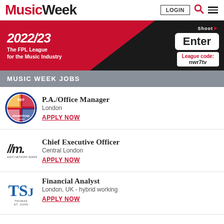Music Week
[Figure (infographic): Advertisement for FPL League 2022/23 for the Music Industry. Red and black background with Enter button and League code: nwr7tv]
MUSIC WEEK JOBS
[Figure (logo): DEP company logo - circular badge with cross design in red, yellow, blue]
P.A./Office Manager
London
APPLY NOW
[Figure (logo): AIM - Association of Independent Music logo in black]
Chief Executive Officer
Central London
APPLY NOW
[Figure (logo): TSJ - Thomas St John logo in blue]
Financial Analyst
London, UK - hybrid working
APPLY NOW